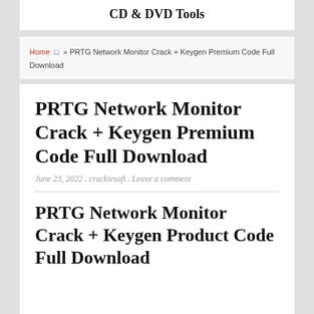CD & DVD Tools
Home  □  » PRTG Network Monitor Crack + Keygen Premium Code Full Download
PRTG Network Monitor Crack + Keygen Premium Code Full Download
June 23, 2022 . crackiesoft . Leave a comment
PRTG Network Monitor Crack + Keygen Product Code Full Download